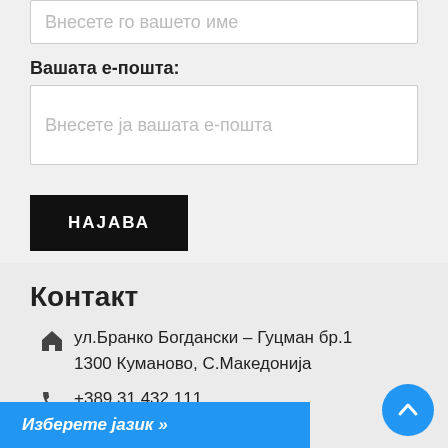[Figure (screenshot): Input field with placeholder text in Macedonian: Внесете го вашето име]
Вашата е-пошта:
[Figure (screenshot): Email input field with placeholder text in Macedonian: Внесете ја вашата е-пошта]
НАЈАВА
Контакт
ул.Бранко Богдански – Гуцман бр.1
1300 Куманово, С.Македонија
+389 31 432 111
+389 78 353 870
+389 70 204 466
ks.com.mk
Изберете јазик »